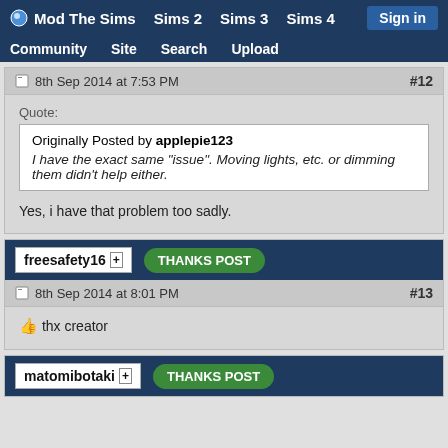Mod The Sims | Sims 2 | Sims 3 | Sims 4 | Sign in | Community | Site | Search | Upload
8th Sep 2014 at 7:53 PM  #12
Quote:
Originally Posted by applepie123
I have the exact same "issue". Moving lights, etc. or dimming them didn't help either.
Yes, i have that problem too sadly.
freesafety16  THANKS POST
8th Sep 2014 at 8:01 PM  #13
thx creator
matomibotaki  THANKS POST